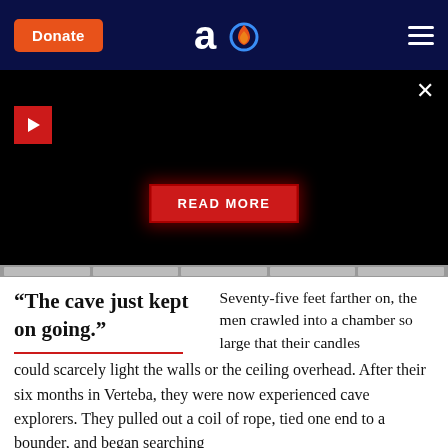Donate | [Logo] | Menu
[Figure (screenshot): Black video player area with red play button in top-left, close X button top-right, and red READ MORE button centered near bottom with red glow]
“The cave just kept on going.”
Seventy-five feet farther on, the men crawled into a chamber so large that their candles could scarcely light the walls or the ceiling overhead. After their six months in Verteba, they were now experienced cave explorers. They pulled out a coil of rope, tied one end to a bounder, and began searching